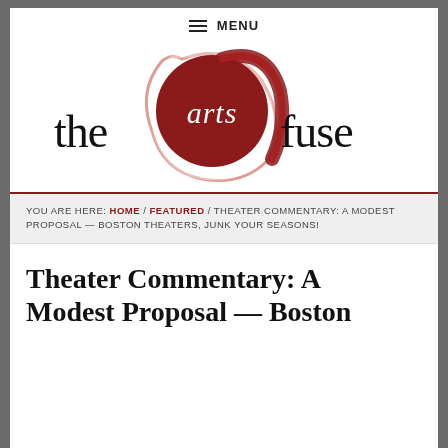≡ MENU
[Figure (logo): The Arts Fuse logo: stylized red brushstroke circle with white 'arts' text inside, flanked by 'the' on the left and 'fuse' on the right in black serif-style font]
YOU ARE HERE: HOME / FEATURED / THEATER COMMENTARY: A MODEST PROPOSAL — BOSTON THEATERS, JUNK YOUR SEASONS!
Theater Commentary: A Modest Proposal — Boston